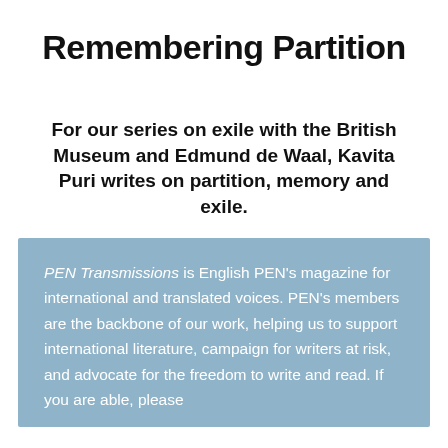Remembering Partition
For our series on exile with the British Museum and Edmund de Waal, Kavita Puri writes on partition, memory and exile.
PEN Transmissions is English PEN’s magazine for international and translated voices. PEN’s members are the backbone of our work, helping us to support international literature, campaign for writers at risk, and advocate for the freedom to write and read. If you are able, please